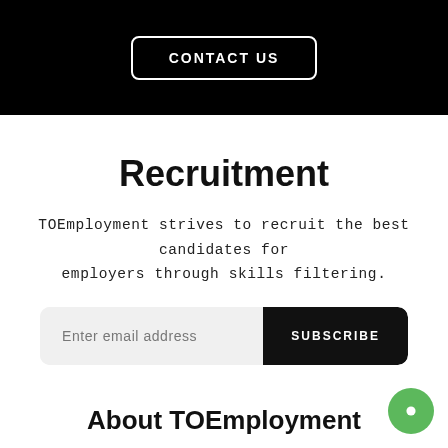CONTACT US
Recruitment
TOEmployment strives to recruit the best candidates for employers through skills filtering.
Enter email address  SUBSCRIBE
About TOEmployment
To empower lives by delivering high quality training,